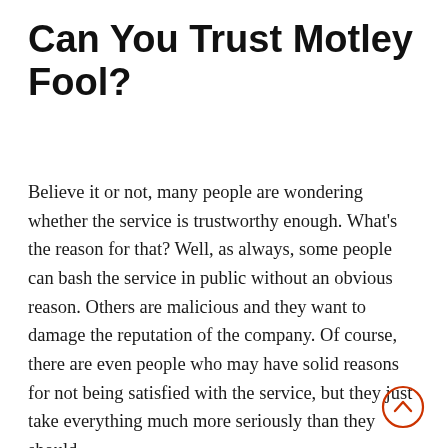Can You Trust Motley Fool?
Believe it or not, many people are wondering whether the service is trustworthy enough. What’s the reason for that? Well, as always, some people can bash the service in public without an obvious reason. Others are malicious and they want to damage the reputation of the company. Of course, there are even people who may have solid reasons for not being satisfied with the service, but they just take everything much more seriously than they should.